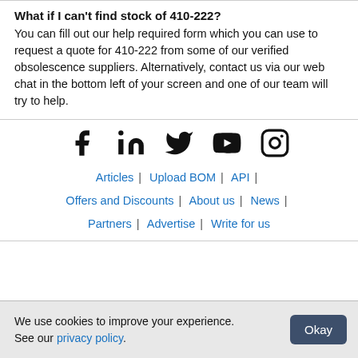What if I can't find stock of 410-222?
You can fill out our help required form which you can use to request a quote for 410-222 from some of our verified obsolescence suppliers. Alternatively, contact us via our web chat in the bottom left of your screen and one of our team will try to help.
[Figure (infographic): Social media icons: Facebook, LinkedIn, Twitter, YouTube, Instagram]
Articles | Upload BOM | API | Offers and Discounts | About us | News | Partners | Advertise | Write for us
We use cookies to improve your experience. See our privacy policy.